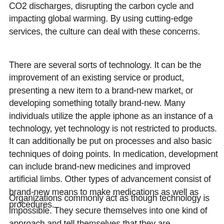CO2 discharges, disrupting the carbon cycle and impacting global warming. By using cutting-edge services, the culture can deal with these concerns.
There are several sorts of technology. It can be the improvement of an existing service or product, presenting a new item to a brand-new market, or developing something totally brand-new. Many individuals utilize the apple iphone as an instance of a technology, yet technology is not restricted to products. It can additionally be put on processes and also basic techniques of doing points. In medication, development can include brand-new medicines and improved artificial limbs. Other types of advancement consist of brand-new means to make medications as well as procedures.
Organizations commonly act as though technology is impossible. They secure themselves into one kind of approach and tell themselves that they are